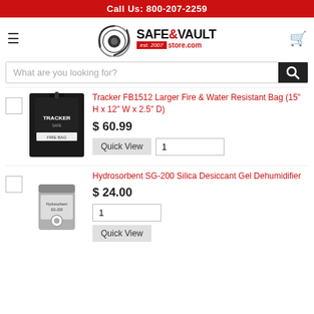Call Us: 800-207-2259
[Figure (logo): Safe & Vault Store logo with circular eye emblem, est. 2007]
What are you looking for?
Tracker FB1512 Larger Fire & Water Resistant Bag (15" H x 12" W x 2.5" D)
$ 60.99
Quick View
Hydrosorbent SG-200 Silica Desiccant Gel Dehumidifier
$ 24.00
Quick View